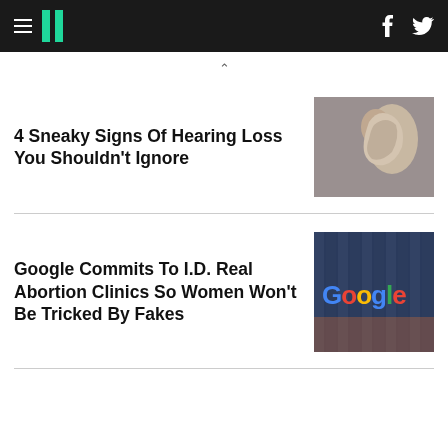HuffPost
4 Sneaky Signs Of Hearing Loss You Shouldn't Ignore
[Figure (photo): Person cupping hand behind ear to hear better]
Google Commits To I.D. Real Abortion Clinics So Women Won't Be Tricked By Fakes
[Figure (photo): Google sign on the side of a glass building at dusk]